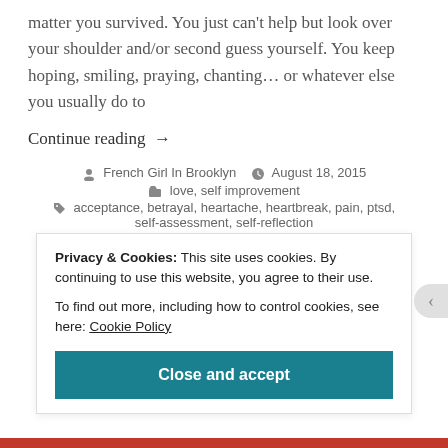matter you survived. You just can't help but look over your shoulder and/or second guess yourself. You keep hoping, smiling, praying, chanting... or whatever else you usually do to
Continue reading →
French Girl In Brooklyn   August 18, 2015
love, self improvement
acceptance, betrayal, heartache, heartbreak, pain, ptsd, self-assessment, self-reflection
Privacy & Cookies: This site uses cookies. By continuing to use this website, you agree to their use.
To find out more, including how to control cookies, see here: Cookie Policy
Close and accept